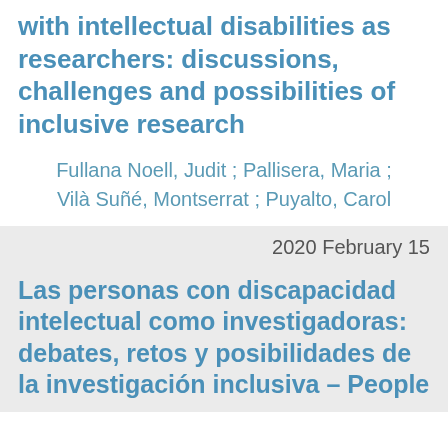with intellectual disabilities as researchers: discussions, challenges and possibilities of inclusive research
Fullana Noell, Judit ; Pallisera, Maria ; Vilà Suñé, Montserrat ; Puyalto, Carol
2020 February 15
Las personas con discapacidad intelectual como investigadoras: debates, retos y posibilidades de la investigación inclusiva – People